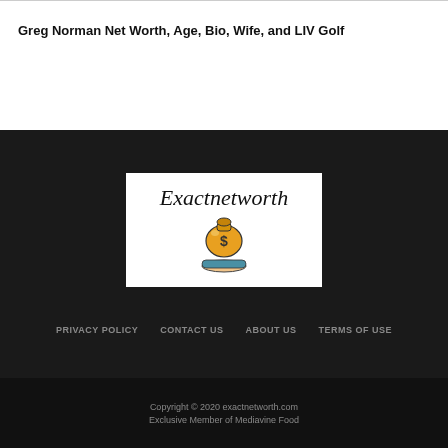Greg Norman Net Worth, Age, Bio, Wife, and LIV Golf
[Figure (logo): Exactnetworth website logo with cursive text and a hand holding a money bag with dollar sign]
PRIVACY POLICY   CONTACT US   ABOUT US   TERMS OF USE
Copyright © 2020 exactnetworth.com
Exclusive Member of Mediavine Food